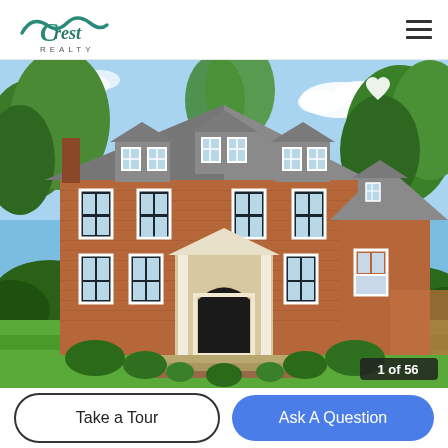Crest Realty logo and navigation menu
[Figure (photo): Exterior photo of a large two-story brick colonial home with gray slate roof, white columns at entrance, black shutters, dormer windows, surrounded by lush green lawn and trees under blue sky. Photo counter badge shows '1 of 56'.]
Take a Tour
Ask A Question